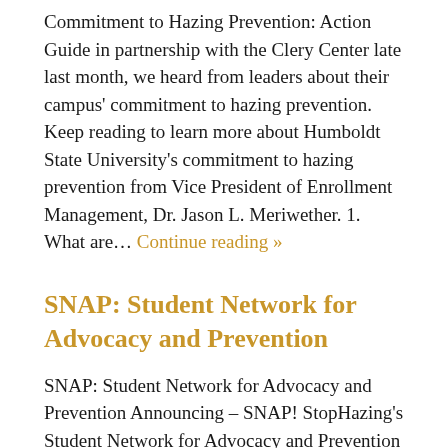Commitment to Hazing Prevention: Action Guide in partnership with the Clery Center late last month, we heard from leaders about their campus' commitment to hazing prevention. Keep reading to learn more about Humboldt State University's commitment to hazing prevention from Vice President of Enrollment Management, Dr. Jason L. Meriwether. 1. What are… Continue reading »
SNAP: Student Network for Advocacy and Prevention
SNAP: Student Network for Advocacy and Prevention Announcing – SNAP! StopHazing's Student Network for Advocacy and Prevention (SNAP) is a student-led group dedicated to